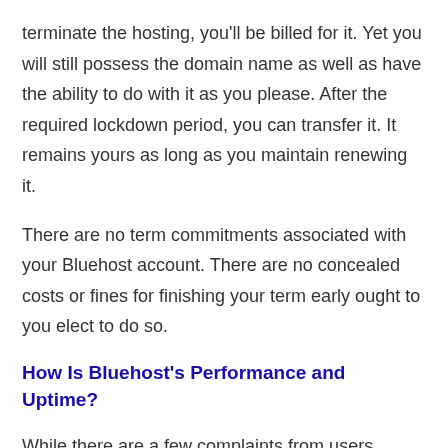terminate the hosting, you'll be billed for it. Yet you will still possess the domain name as well as have the ability to do with it as you please. After the required lockdown period, you can transfer it. It remains yours as long as you maintain renewing it.
There are no term commitments associated with your Bluehost account. There are no concealed costs or fines for finishing your term early ought to you elect to do so.
How Is Bluehost's Performance and Uptime?
While there are a few complaints from users regarding numerous server blackouts as well as a web server group that is sluggish to react, a multitude of Bluehost customers assert that the business has solid server efficiency.
According to these individuals, Bluehost scores a 99.99% uptime on average and also sometimes outdoes itself to provide a 100%